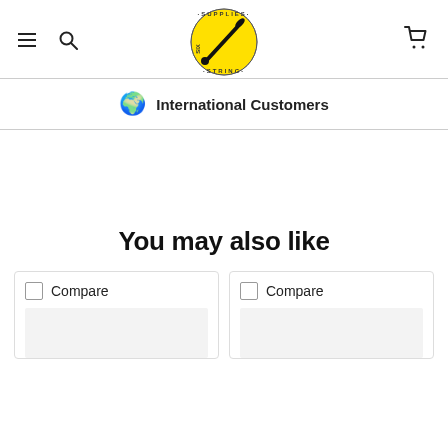Six String Supplies - navigation header with hamburger menu, search, logo, and cart
International Customers
You may also like
Compare
Compare